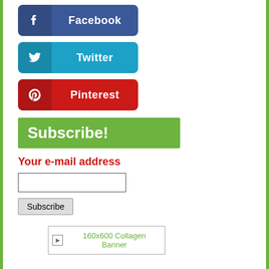[Figure (infographic): Facebook social media button — dark blue rounded rectangle with Facebook 'f' icon and label 'Facebook']
[Figure (infographic): Twitter social media button — blue rounded rectangle with Twitter bird icon and label 'Twitter']
[Figure (infographic): Pinterest social media button — red rounded rectangle with Pinterest 'p' icon and label 'Pinterest']
Subscribe!
Your e-mail address
Subscribe
[Figure (other): Broken image placeholder with text '160x600 Collagen Banner']